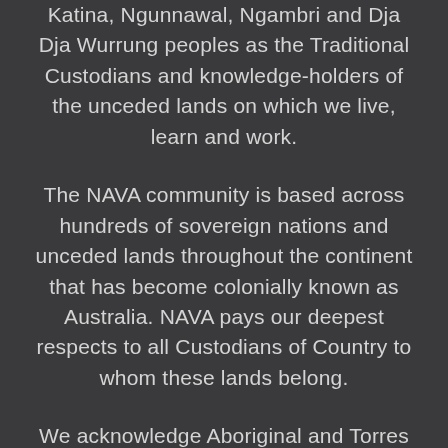Katina, Ngunnawal, Ngambri and Dja Dja Wurrung peoples as the Traditional Custodians and knowledge-holders of the unceded lands on which we live, learn and work.
The NAVA community is based across hundreds of sovereign nations and unceded lands throughout the continent that has become colonially known as Australia. NAVA pays our deepest respects to all Custodians of Country to whom these lands belong.
We acknowledge Aboriginal and Torres Strait Islander peoples as the